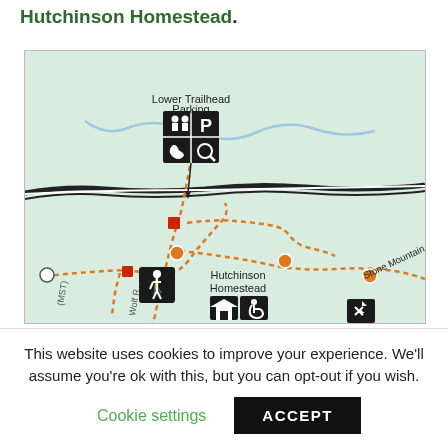Hutchinson Homestead.
[Figure (map): Trail map showing Lower Trailhead Parking area with restroom, parking, phone, and accessibility icons. Dashed orange trail lines connect to Hutchinson Homestead with hiker, cabin, and accessibility icons. Stone Mountain Loop trail label visible. MST and Wolf Run labels on left side. Orange trail dots and white/red markers shown.]
This website uses cookies to improve your experience. We'll assume you're ok with this, but you can opt-out if you wish.
Cookie settings   ACCEPT